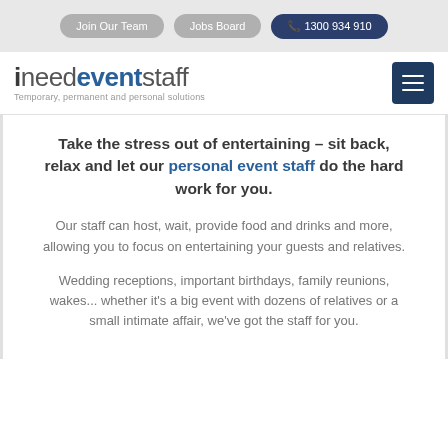Join Our Team | Jobs Board | 1300 934 910
[Figure (logo): ineedeventstaff logo with tagline: Temporary, permanent and personal solutions]
Take the stress out of entertaining - sit back, relax and let our personal event staff do the hard work for you.
Our staff can host, wait, provide food and drinks and more, allowing you to focus on entertaining your guests and relatives.
Wedding receptions, important birthdays, family reunions, wakes... whether it's a big event with dozens of relatives or a small intimate affair, we've got the staff for you.